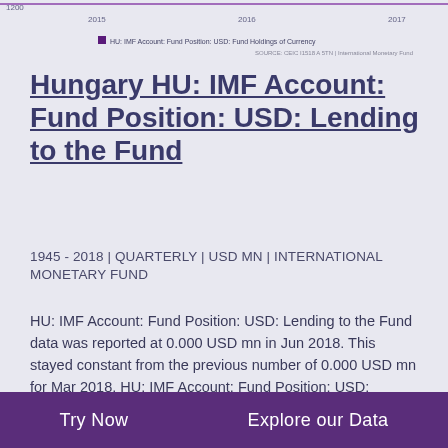[Figure (line-chart): Partial chart showing HU: IMF Account: Fund Position: USD: Fund Holdings of Currency, years 2015-2017 visible, y-axis showing 1200 at top]
Hungary HU: IMF Account: Fund Position: USD: Lending to the Fund
1945 - 2018 | QUARTERLY | USD MN | INTERNATIONAL MONETARY FUND
HU: IMF Account: Fund Position: USD: Lending to the Fund data was reported at 0.000 USD mn in Jun 2018. This stayed constant from the previous number of 0.000 USD mn for Mar 2018. HU: IMF Account: Fund Position: USD: Lending to the Fund data is updated quarterly, averaging 0.000 USD mn from Mar 1945 to Jun 2018, with 294 observations. HU: IMF Account: Fund Position: USD: Lending to the Fund data remains active status in CEIC and is reported by International Monetary Fund.
Try Now   Explore our Data